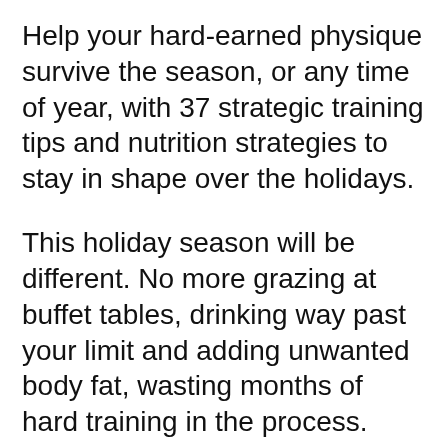Help your hard-earned physique survive the season, or any time of year, with 37 strategic training tips and nutrition strategies to stay in shape over the holidays.
This holiday season will be different. No more grazing at buffet tables, drinking way past your limit and adding unwanted body fat, wasting months of hard training in the process.
While this episode might be